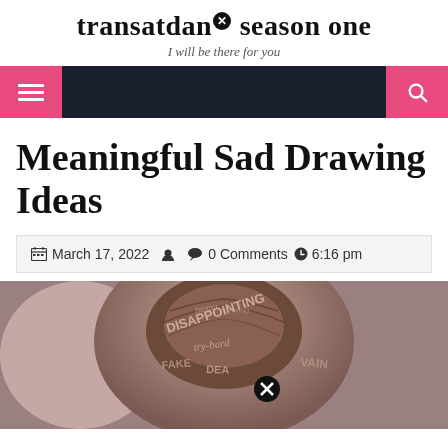transatdans✕ season one — I will be there for you
[Figure (screenshot): Navigation bar with dark background, pink hamburger menu button on left, pink search button on right]
Meaningful Sad Drawing Ideas
March 17, 2022  0 Comments  6:16 pm
[Figure (photo): Back of a person's head with words written on it including DISAPPOINTING, try-hard, FAKE, VAIN, and other negative labels]